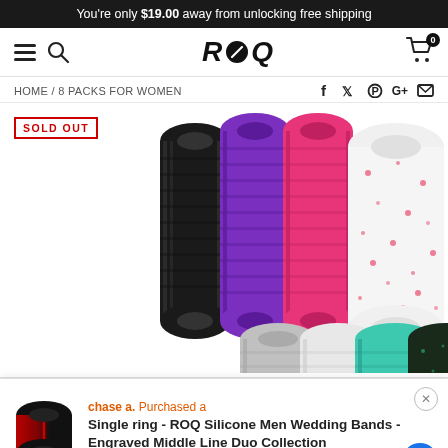You're only $19.00 away from unlocking free shipping
[Figure (screenshot): ROQ brand navigation bar with hamburger menu, search icon, ROQ logo, and cart icon with 0 items]
HOME / 8 PACKS FOR WOMEN
[Figure (photo): Four silicone rings standing upright — black, purple, hot pink, and white with red glitter sparkles — with partial view of silver, white, teal, and dark glitter rings at the bottom. SOLD OUT badge in red upper left.]
chase a.  Purchased a
Single ring - ROQ Silicone Men Wedding Bands - Engraved Middle Line Duo Collection
Just now